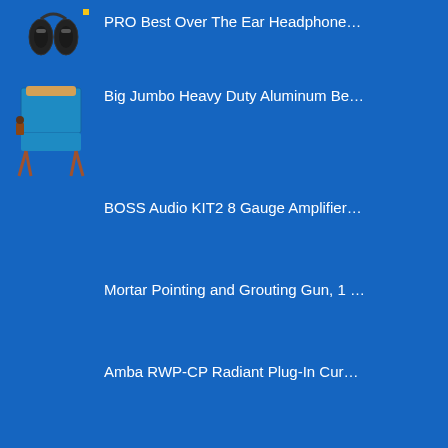PRO Best Over The Ear Headphone…
Big Jumbo Heavy Duty Aluminum Be…
BOSS Audio KIT2 8 Gauge Amplifier…
Mortar Pointing and Grouting Gun, 1 …
Amba RWP-CP Radiant Plug-In Cur…